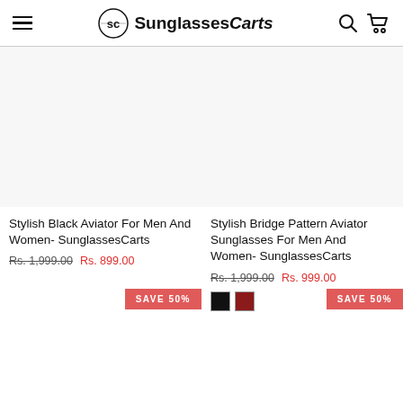SunglassesCarts
Stylish Black Aviator For Men And Women- SunglassesCarts
Rs. 1,999.00  Rs. 899.00
Stylish Bridge Pattern Aviator Sunglasses For Men And Women- SunglassesCarts
Rs. 1,999.00  Rs. 999.00